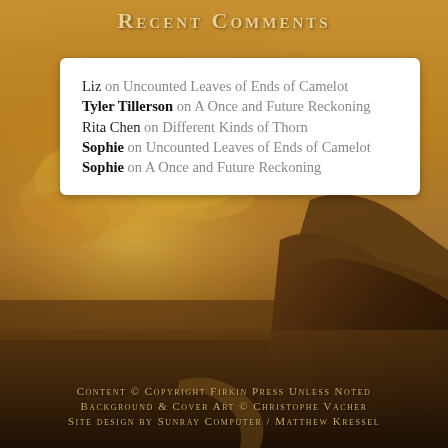Recent Comments
Liz on Uncounted Leaves of Ends of Camelot
Tyler Tillerson on A Once and Future Reckoning
Rita Chen on Different Kinds of Thorn
Sophie on Uncounted Leaves of Ends of Camelot
Sophie on A Once and Future Reckoning
[Figure (illustration): Fantasy landscape with golden sky, dramatic clouds, and a large dark rocky formation on the right side. Canyon or mesa landscape in warm golden/amber tones.]
Content © Copyright Firkin Press Unless Noted
Background & Cover Art © Christophe Vacher
Site design by Sunray Computer / Matthew Kressel